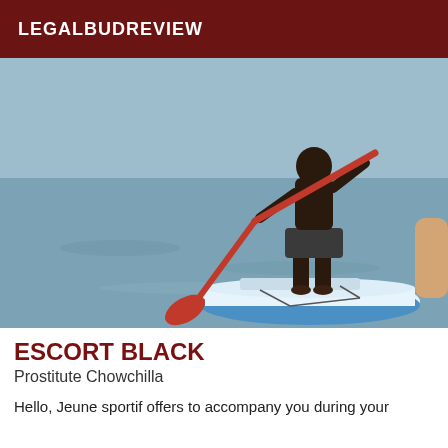LEGALBUDREVIEW
[Figure (photo): A man standing on a stand-up paddleboard near the shore, holding a red paddle, wearing dark board shorts, shirtless.]
ESCORT BLACK
Prostitute Chowchilla
Hello, Jeune sportif offers to accompany you during your